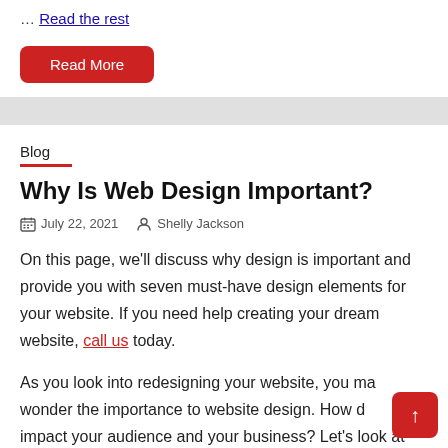… Read the rest
Read More
Blog
Why Is Web Design Important?
July 22, 2021   Shelly Jackson
On this page, we'll discuss why design is important and provide you with seven must-have design elements for your website. If you need help creating your dream website, call us today.
As you look into redesigning your website, you may wonder the importance to website design. How does it impact your audience and your business? Let's look at